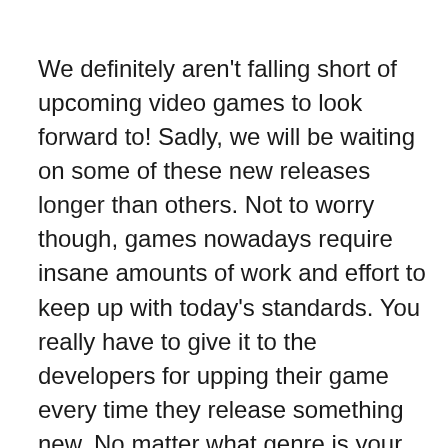We definitely aren't falling short of upcoming video games to look forward to! Sadly, we will be waiting on some of these new releases longer than others. Not to worry though, games nowadays require insane amounts of work and effort to keep up with today's standards. You really have to give it to the developers for upping their game every time they release something new. No matter what genre is your favorite you'll without a doubt have something to look forward to, there's something for everybody. Some of these games were announced years ago and we are still waiting patiently for them! It's good to remember that there's nothing quite like immersing yourself in these awesome video games with a large screen TV, click here for TV wall